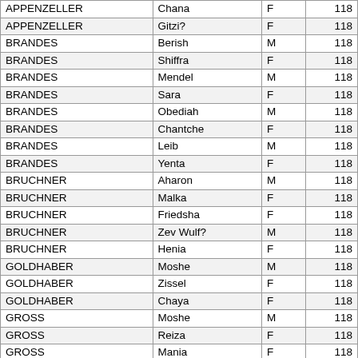| APPENZELLER | Chana | F | 118 |
| APPENZELLER | Gitzi? | F | 118 |
| BRANDES | Berish | M | 118 |
| BRANDES | Shiffra | F | 118 |
| BRANDES | Mendel | M | 118 |
| BRANDES | Sara | F | 118 |
| BRANDES | Obediah | M | 118 |
| BRANDES | Chantche | F | 118 |
| BRANDES | Leib | M | 118 |
| BRANDES | Yenta | F | 118 |
| BRUCHNER | Aharon | M | 118 |
| BRUCHNER | Malka | F | 118 |
| BRUCHNER | Friedsha | F | 118 |
| BRUCHNER | Zev Wulf? | M | 118 |
| BRUCHNER | Henia | F | 118 |
| GOLDHABER | Moshe | M | 118 |
| GOLDHABER | Zissel | F | 118 |
| GOLDHABER | Chaya | F | 118 |
| GROSS | Moshe | M | 118 |
| GROSS | Reiza | F | 118 |
| GROSS | Mania | F | 118 |
| GROSS | Fania | F | 118 |
| GROSS | Sima | F | 118 |
| HIRSCHKOWITZ | Shmerel | M | 118 |
| HIRSCHKOWITZ | Perel | F | 118 |